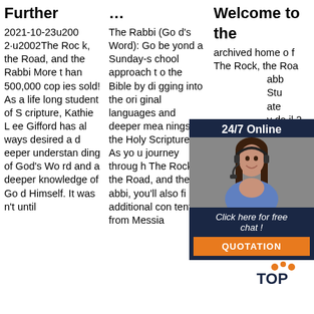Further
2021-10-23u2002·u2002The Rock, the Road, and the Rabbi More than 500,000 copies sold! As a lifelong student of Scripture, Kathie Lee Gifford has always desired a deeper understanding of God's Word and a deeper knowledge of God Himself. It was n't until
...
The Rabbi (God's Word): Go beyond a Sunday-school approach to the Bible by digging into the original languages and deeper meanings of the Holy Scriptures. As you journey through The Rock, the Road, and the Rabbi, you'll also find additional content from Messia
Welcome to the archived home of The Rock, the Road, and the Rabbi Study... ately da il 20 d th was e ex access through the end of June for participants who needed a bit more time, but if
[Figure (other): 24/7 Online chat widget with a woman wearing a headset, and a 'Click here for free chat!' link with an orange QUOTATION button]
[Figure (logo): TOP logo with orange dotted design]